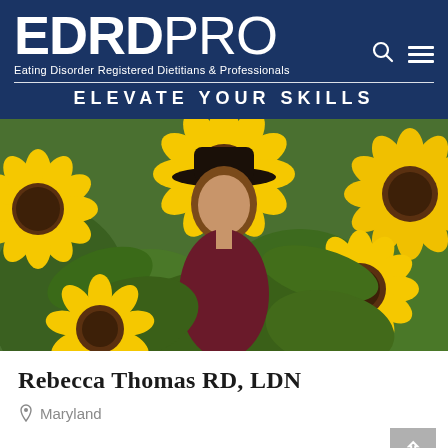EDRDPRO — Eating Disorder Registered Dietitians & Professionals — ELEVATE YOUR SKILLS
[Figure (photo): Woman standing among sunflowers in a field, wearing a dark hat and burgundy floral dress]
Rebecca Thomas RD, LDN
Maryland